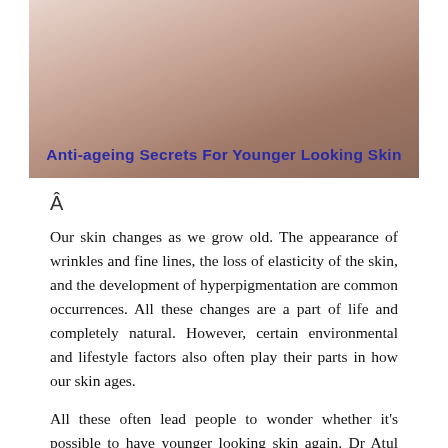[Figure (photo): Photo of a woman touching her face/neck area, with overlay text 'Anti-ageing Secrets For Younger Looking Skin' in bold blue font at the bottom of the image.]
Â
Our skin changes as we grow old. The appearance of wrinkles and fine lines, the loss of elasticity of the skin, and the development of hyperpigmentation are common occurrences. All these changes are a part of life and completely natural. However, certain environmental and lifestyle factors also often play their parts in how our skin ages.
All these often lead people to wonder whether it's possible to have younger looking skin again. Dr Atul Jain, one of the best dermatologists in Jaipur, is here to reveal certain secrets of how to turn back the clock